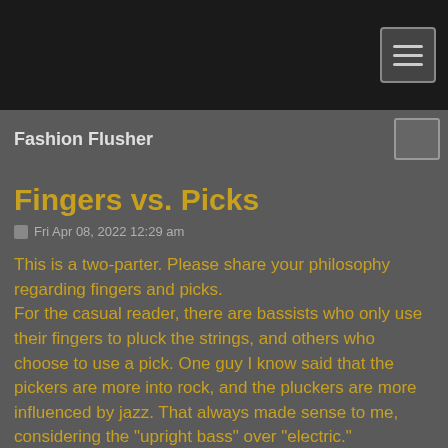Fashion Flusher
Fingers vs. Picks
Fri Apr 08, 2022 12:29 am
This is a two-parter. Please share your philosophy regarding fingers and picks.
For the casual reader, there are bassists who only use their fingers to pluck the strings, and others who choose to use a pick. One guy I know said that the pickers are more into rock, and the pluckers are more influenced by jazz. That always made sense to me, considering the "upright bass" over "electric."
Do you think there is any validity to that notion? Secondly, will you please tell us if there are any songs that you recorded using fingers alone? (Full disclosure: I love your picking style. You are absolutely one of the best rock bassists of all time.